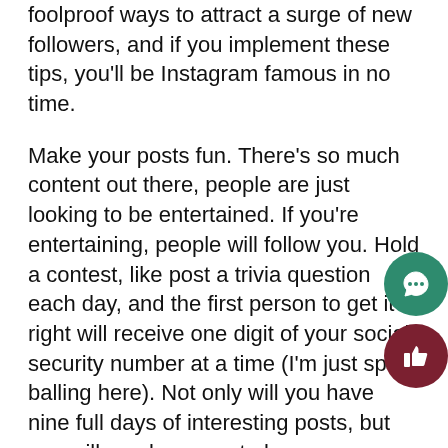foolproof ways to attract a surge of new followers, and if you implement these tips, you'll be Instagram famous in no time.
Make your posts fun. There's so much content out there, people are just looking to be entertained. If you're entertaining, people will follow you. Hold a contest, like post a trivia question each day, and the first person to get it right will receive one digit of your social security number at a time (I'm just spit-balling here). Not only will you have nine full days of interesting posts, but you will surely generate buzz.
Another thing you could do is post sexy photos of yourself. Sex sells, and if you can use it to your advantage, then power to you. I know what you're thinking: Joe, what if I'm ugly? You don't even need be attractive in real life, just learn how to edit pictures.